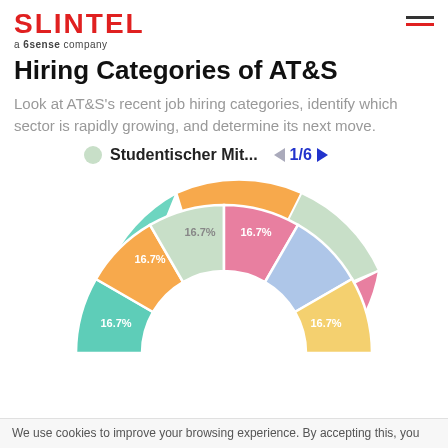SLINTEL a 6sense company
Hiring Categories of AT&S
Look at AT&S's recent job hiring categories, identify which sector is rapidly growing, and determine its next move.
[Figure (donut-chart): Hiring Categories of AT&S]
We use cookies to improve your browsing experience. By accepting this, you